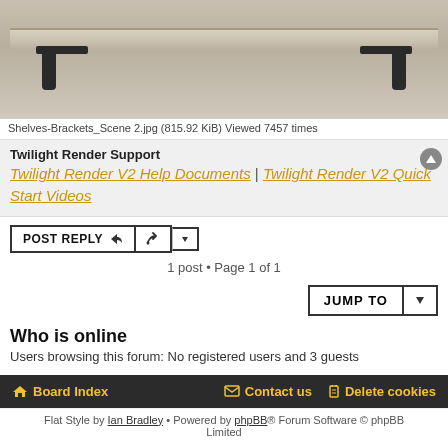[Figure (photo): Photo of a wall-mounted shelf with black metal brackets against a beige/grey wall]
Shelves-Brackets_Scene 2.jpg (815.92 KiB) Viewed 7457 times
Twilight Render Support
Twilight Render V2 Help Documents | Twilight Render V2 Quick Start Videos
POST REPLY
1 post • Page 1 of 1
JUMP TO
Who is online
Users browsing this forum: No registered users and 3 guests
Board Index   Contact us   Delete cookies
Flat Style by Ian Bradley • Powered by phpBB® Forum Software © phpBB Limited